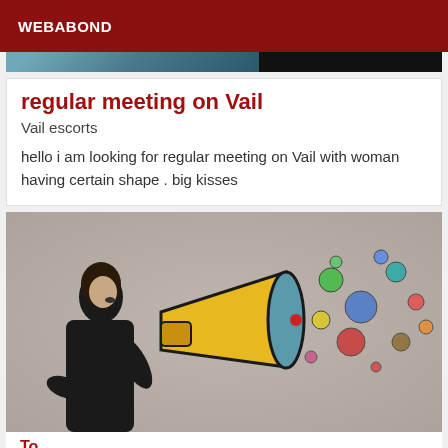WEBABOND
[Figure (photo): Partial photo strip at top showing a room/interior scene on the left and dark area on the right]
regular meeting on Vail
Vail escorts
hello i am looking for regular meeting on Vail with woman having certain shape . big kisses
[Figure (photo): Woman in black outfit shouting into a yellow megaphone with colorful bubbles/circles coming out]
To...